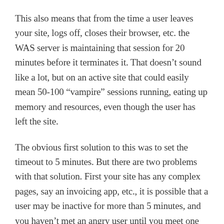This also means that from the time a user leaves your site, logs off, closes their browser, etc. the WAS server is maintaining that session for 20 minutes before it terminates it. That doesn't sound like a lot, but on an active site that could easily mean 50-100 “vampire” sessions running, eating up memory and resources, even though the user has left the site.
The obvious first solution to this was to set the timeout to 5 minutes. But there are two problems with that solution. First your site has any complex pages, say an invoicing app, etc., it is possible that a user may be inactive for more than 5 minutes, and you haven’t met an angry user until you meet one that worked on filling out a complex form for 20 minutes, but has to do some research to complete the form and comes back to the page after 5 minutes to find out it has timed out and they have to start